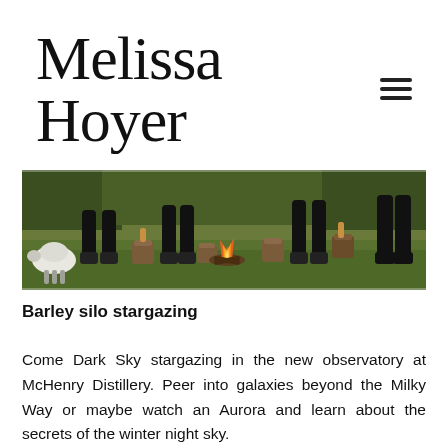Melissa Hoyer
[Figure (photo): Outdoor scene with people standing around a campfire on grass, with tree stumps used as tables and a sheep grazing on the left.]
Barley silo stargazing
Come Dark Sky stargazing in the new observatory at McHenry Distillery. Peer into galaxies beyond the Milky Way or maybe watch an Aurora and learn about the secrets of the winter night sky. After…